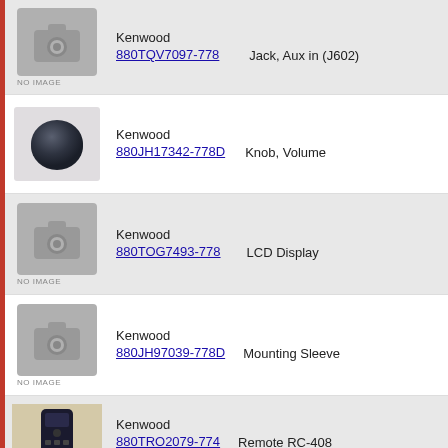Kenwood 880TQV7097-778 Jack, Aux in (J602)
Kenwood 880JH17342-778D Knob, Volume
Kenwood 880TOG7493-778 LCD Display
Kenwood 880JH97039-778D Mounting Sleeve
Kenwood 880TRO2079-774 Remote RC-408